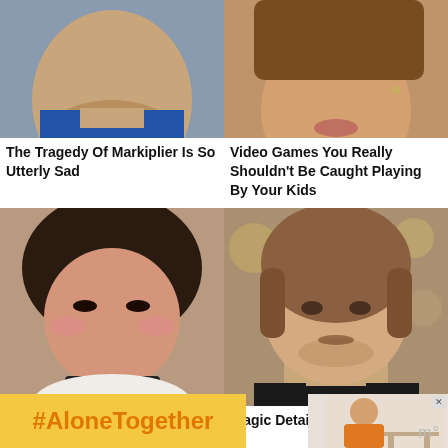[Figure (photo): Close-up photo of a man's face (Markiplier), partially cropped at top]
[Figure (photo): Close-up photo of a woman's face, hair visible, partially cropped at top]
The Tragedy Of Markiplier Is So Utterly Sad
Video Games You Really Shouldn't Be Caught Playing By Your Kids
[Figure (photo): Photo of a young woman with dark hair and dramatic makeup (Twitch streamer)]
[Figure (photo): Photo of a young man with light brown hair and slight beard (MrBeast)]
These Twitch Streamers Are Stunning Without Ma...
Tragic Details About MrBeast
[Figure (infographic): Yellow ad banner with orange bold text #AloneTogether]
[Figure (photo): Small advertisement image showing a woman cooking]